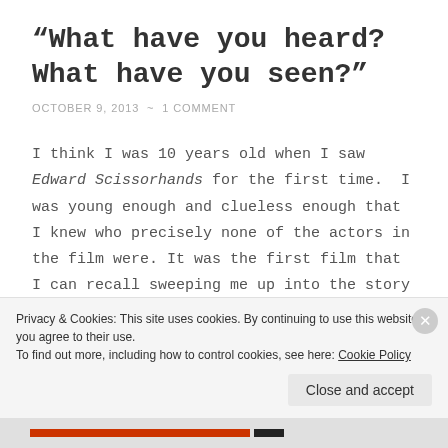“What have you heard? What have you seen?”
OCTOBER 9, 2013 ~ 1 COMMENT
I think I was 10 years old when I saw Edward Scissorhands for the first time.  I was young enough and clueless enough that I knew who precisely none of the actors in the film were. It was the first film that I can recall sweeping me up into the story and being really beautiful and really sad at the same time. It probably screwed
Privacy & Cookies: This site uses cookies. By continuing to use this website, you agree to their use.
To find out more, including how to control cookies, see here: Cookie Policy